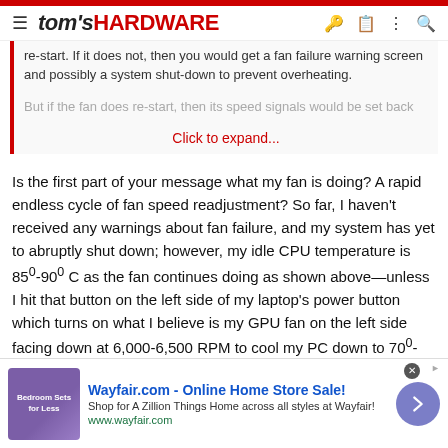tom's HARDWARE
re-start. If it does not, then you would get a fan failure warning screen and possibly a system shut-down to prevent overheating. But if the fan does re-start, then its speed signals would be set back
Click to expand...
Is the first part of your message what my fan is doing? A rapid endless cycle of fan speed readjustment? So far, I haven't received any warnings about fan failure, and my system has yet to abruptly shut down; however, my idle CPU temperature is 85°-90° C as the fan continues doing as shown above—unless I hit that button on the left side of my laptop's power button which turns on what I believe is my GPU fan on the left side facing down at 6,000-6,500 RPM to cool my PC down to 70°-75° C.
I've had this laptop for few years, so I think it could be age; it just
[Figure (screenshot): Wayfair.com advertisement banner: Online Home Store Sale! Shop for A Zillion Things Home across all styles at Wayfair! www.wayfair.com]